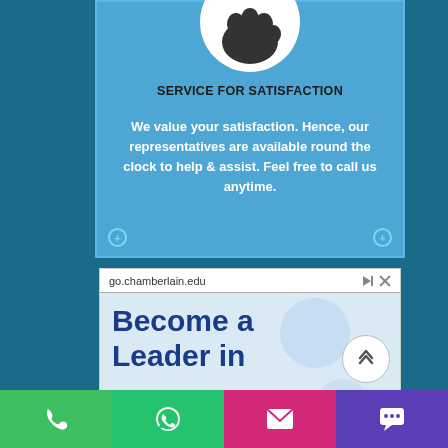[Figure (illustration): Blue service panel with white circle icon showing handshake/service symbol at top, title 'SERVICE FOR SATISFACTION', and white bold text body. Two screw corner decorations at bottom.]
SERVICE FOR SATISFACTION
We value your satisfaction. Hence, our representatives are available round the clock to help & assist. Feel free to call us anytime.
[Figure (screenshot): Advertisement panel for go.chamberlain.edu showing 'Become a Leader in' in large blue text on light blue background, with scroll-up button on right and ad controls (play/close icons) at top right.]
[Figure (illustration): Bottom navigation bar with four buttons: green phone icon, green WhatsApp icon, pink email icon, purple chat/message icon.]